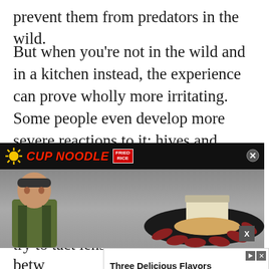prevent them from predators in the wild.
But when you're not in the wild and in a kitchen instead, the experience can prove wholly more irritating. Some people even develop more severe reactions to it; hives and itching, among
[Figure (screenshot): Cup Noodle Fried Rice video advertisement overlay showing a person and food on a plate, with banner text 'CUP NOODLE FRIED RICE']
revent yourself from opping down, try to tact lenses in order to e
[Figure (screenshot): Bottom advertisement banner: 'Three Delicious Flavors', 'A Simple Way to Support your Healthy Lifestyle.' with an 'Open' button and 'happy being' text]
betw also rinse or